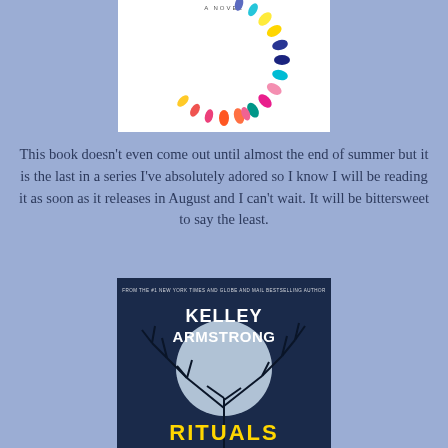[Figure (illustration): Top portion of a book cover showing colorful teardrop/raindrop shapes in pink, teal, navy, orange, yellow colors on a white background with text 'A NOVEL' at the top]
This book doesn't even come out until almost the end of summer but it is the last in a series I've absolutely adored so I know I will be reading it as soon as it releases in August and I can't wait. It will be bittersweet to say the least.
[Figure (illustration): Book cover for 'Rituals' by Kelley Armstrong, showing a dark blue background with a large full moon and bare tree branches. The author name 'KELLEY ARMSTRONG' is in large white text, and the title 'RITUALS' is in yellow text at the bottom. Small text at top reads 'FROM THE #1 NEW YORK TIMES AND GLOBE AND MAIL BESTSELLING AUTHOR']